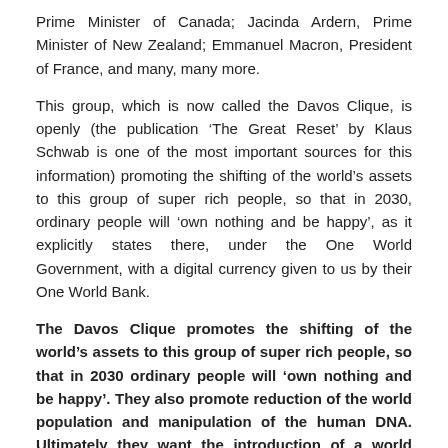Prime Minister of Canada; Jacinda Ardern, Prime Minister of New Zealand; Emmanuel Macron, President of France, and many, many more.
This group, which is now called the Davos Clique, is openly (the publication ‘The Great Reset’ by Klaus Schwab is one of the most important sources for this information) promoting the shifting of the world’s assets to this group of super rich people, so that in 2030, ordinary people will ‘own nothing and be happy’, as it explicitly states there, under the One World Government, with a digital currency given to us by their One World Bank.
The Davos Clique promotes the shifting of the world’s assets to this group of super rich people, so that in 2030 ordinary people will ‘own nothing and be happy’. They also promote reduction of the world population and manipulation of the human DNA. Ultimately they want the introduction of a world government under the UN.